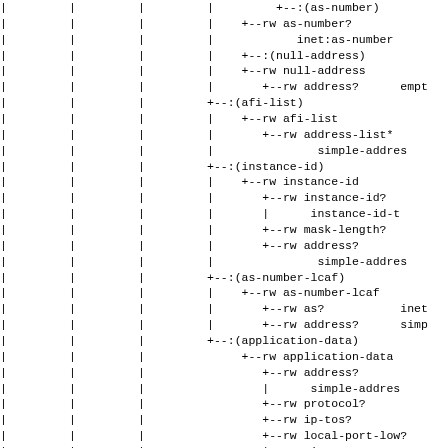YANG tree diagram showing network address type definitions including as-number, null-address, afi-list, instance-id, as-number-lcaf, and application-data nodes with their read-write attributes